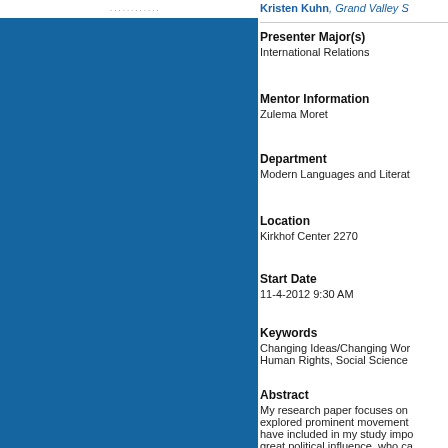Kristen Kuhn, Grand Valley S
Presenter Major(s)
International Relations
Mentor Information
Zulema Moret
Department
Modern Languages and Litera
Location
Kirkhof Center 2270
Start Date
11-4-2012 9:30 AM
Keywords
Changing Ideas/Changing Wor
Human Rights, Social Science
Abstract
My research paper focuses on explored prominent movement have included in my study impo great political influence, who ca